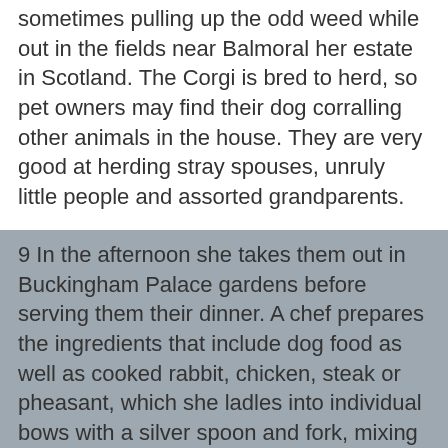sometimes pulling up the odd weed while out in the fields near Balmoral her estate in Scotland. The Corgi is bred to herd, so pet owners may find their dog corralling other animals in the house. They are very good at herding stray spouses, unruly little people and assorted grandparents.
9 In the afternoon she takes them out in Buckingham Palace gardens before serving them their dinner. A chef prepares the ingredients that include dog food as well as cooked rabbit, chicken, steak or pheasant, which she ladles into individual bows with a silver spoon and fork, mixing in gravy and crumbled biscuits. The Corgis' relationship with food is greatly overstated. It's blatantly untrue that they will eat until they explode. They actually have a built-in monitor which allows them to stop one bite short of bursting point.
10 She carries good luck charms from her children in her bag, including miniature corgi dogs and horses and family photos. Top secret files have revealed that also in her bag are a packet of Shmackos , three pigs ears , some poop pick up bag and a bottle of Kennel Nos 5. The Corgi's favourite meal is a well known secret but I will tell it to you now, it's anything on your plate.